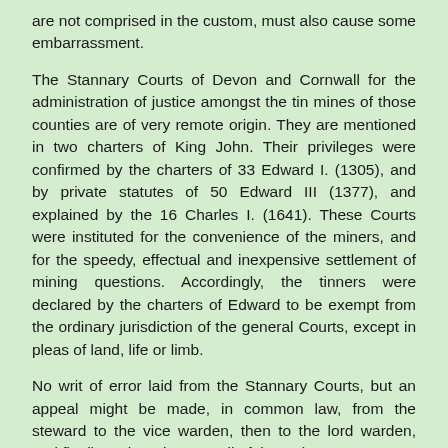are not comprised in the custom, must also cause some embarrassment.
The Stannary Courts of Devon and Cornwall for the administration of justice amongst the tin mines of those counties are of very remote origin. They are mentioned in two charters of King John. Their privileges were confirmed by the charters of 33 Edward I. (1305), and by private statutes of 50 Edward III (1377), and explained by the 16 Charles I. (1641). These Courts were instituted for the convenience of the miners, and for the speedy, effectual and inexpensive settlement of mining questions. Accordingly, the tinners were declared by the charters of Edward to be exempt from the ordinary jurisdiction of the general Courts, except in pleas of land, life or limb.
No writ of error laid from the Stannary Courts, but an appeal might be made, in common law, from the steward to the vice warden, then to the lord warden, and finally to the privy council of the Duke.
All labouring tinners, dressers, smelters, and all persons actually employed in tin works, are called